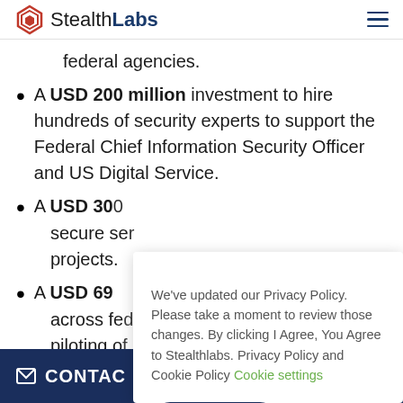StealthLabs
federal agencies.
A USD 200 million investment to hire hundreds of security experts to support the Federal Chief Information Security Officer and US Digital Service.
A USD 30[...] secure se[...] projects.
A USD 69[...] across fe[...] piloting o[...]
We've updated our Privacy Policy. Please take a moment to review those changes. By clicking I Agree, You Agree to Stealthlabs. Privacy Policy and Cookie Policy Cookie settings
CONTACT